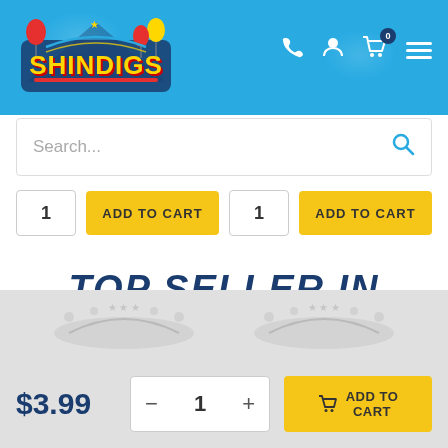[Figure (logo): Shindigs party supplies website logo with colorful balloons and stars on a blue background]
[Figure (screenshot): Navigation icons: phone, user profile, shopping cart with 0 badge, hamburger menu on blue header]
Search...
1   ADD TO CART   1   ADD TO CART
TOP SELLER IN
[Figure (illustration): Two grey product placeholder images with stars and balloon decorations]
$3.99
— 1 +  ADD TO CART